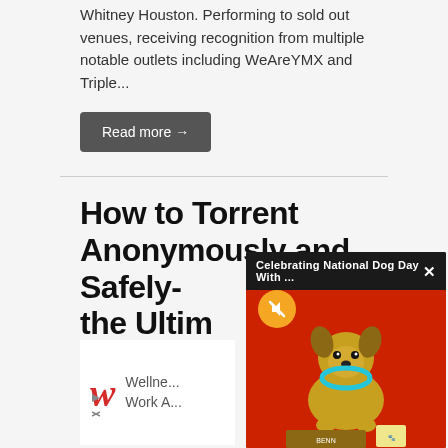Whitney Houston. Performing to sold out venues, receiving recognition from multiple notable outlets including WeAreYMX and Triple...
Read more →
How to Torrent Anonymously and Safely- the Ultim...
by Skope • August 28...
[Figure (screenshot): Popup overlay showing 'Celebrating National Dog Day With ...' with a dog photo on red background, close button X, and mute button]
[Figure (screenshot): Advertisement featuring Walgreens W logo with text 'Wellne... Work A...' and ad controls]